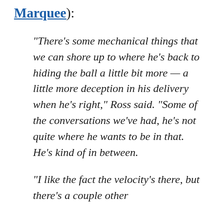Marquee):
“There’s some mechanical things that we can shore up to where he’s back to hiding the ball a little bit more — a little more deception in his delivery when he’s right,” Ross said. “Some of the conversations we’ve had, he’s not quite where he wants to be in that. He’s kind of in between.
“I like the fact the velocity’s there, but there’s a couple other